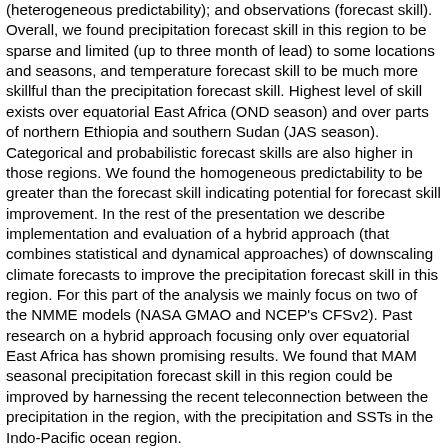(heterogeneous predictability); and observations (forecast skill). Overall, we found precipitation forecast skill in this region to be sparse and limited (up to three month of lead) to some locations and seasons, and temperature forecast skill to be much more skillful than the precipitation forecast skill. Highest level of skill exists over equatorial East Africa (OND season) and over parts of northern Ethiopia and southern Sudan (JAS season). Categorical and probabilistic forecast skills are also higher in those regions. We found the homogeneous predictability to be greater than the forecast skill indicating potential for forecast skill improvement. In the rest of the presentation we describe implementation and evaluation of a hybrid approach (that combines statistical and dynamical approaches) of downscaling climate forecasts to improve the precipitation forecast skill in this region. For this part of the analysis we mainly focus on two of the NMME models (NASA GMAO and NCEP's CFSv2). Past research on a hybrid approach focusing only over equatorial East Africa has shown promising results. We found that MAM seasonal precipitation forecast skill in this region could be improved by harnessing the recent teleconnection between the precipitation in the region, with the precipitation and SSTs in the Indo-Pacific ocean region.
- Indicates paper has been withdrawn from meeting
- Indicates an Award Winner